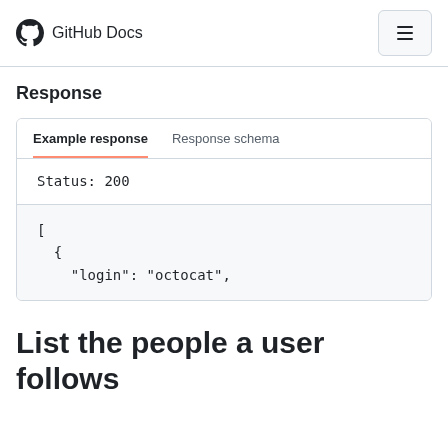GitHub Docs
Response
Example response	Response schema
Status: 200
[
  {
    "login": "octocat",
List the people a user follows